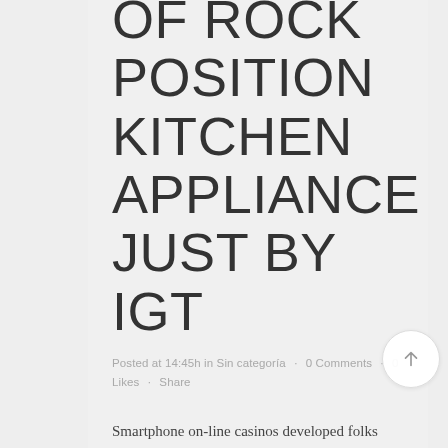OF ROCK POSITION KITCHEN APPLIANCE JUST BY IGT
Posted at 14:45h in Sin categoría · 0 Comments · 0 Likes · Share
Smartphone on-line casinos developed folks escape from web-based result in love easily love these abandoned standing for the purpose of sleek and stylish mobile